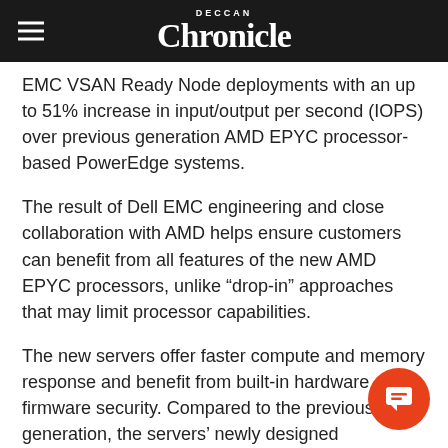Deccan Chronicle
EMC VSAN Ready Node deployments with an up to 51% increase in input/output per second (IOPS) over previous generation AMD EPYC processor-based PowerEdge systems.
The result of Dell EMC engineering and close collaboration with AMD helps ensure customers can benefit from all features of the new AMD EPYC processors, unlike “drop-in” approaches that may limit processor capabilities.
The new servers offer faster compute and memory response and benefit from built-in hardware and firmware security. Compared to the previous generation, the servers’ newly designed motherboard also offers customers better co and optimal signal integrity. Additionally, the innovative PowerEdge designs benefit customers